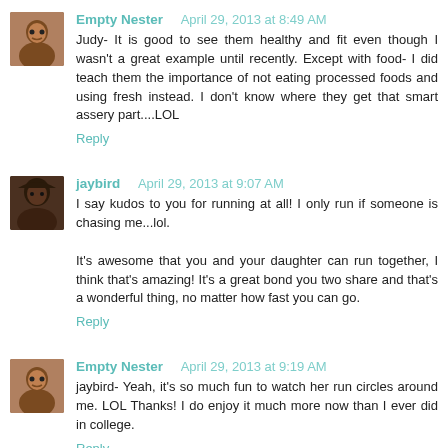Empty Nester   April 29, 2013 at 8:49 AM
Judy- It is good to see them healthy and fit even though I wasn't a great example until recently. Except with food- I did teach them the importance of not eating processed foods and using fresh instead. I don't know where they get that smart assery part....LOL
Reply
jaybird  April 29, 2013 at 9:07 AM
I say kudos to you for running at all! I only run if someone is chasing me...lol.

It's awesome that you and your daughter can run together, I think that's amazing! It's a great bond you two share and that's a wonderful thing, no matter how fast you can go.
Reply
Empty Nester   April 29, 2013 at 9:19 AM
jaybird- Yeah, it's so much fun to watch her run circles around me. LOL Thanks! I do enjoy it much more now than I ever did in college.
Reply